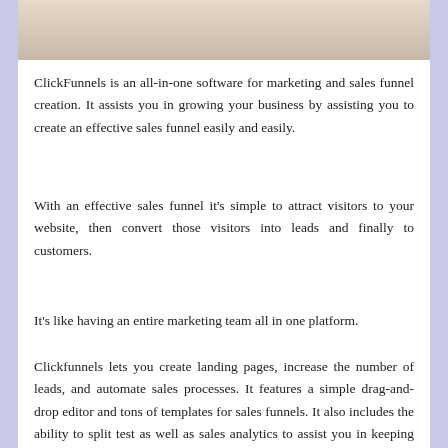[Figure (photo): Partial photo of a person, visible at the top of the page, cropped]
ClickFunnels is an all-in-one software for marketing and sales funnel creation. It assists you in growing your business by assisting you to create an effective sales funnel easily and easily.
With an effective sales funnel it's simple to attract visitors to your website, then convert those visitors into leads and finally to customers.
It's like having an entire marketing team all in one platform.
Clickfunnels lets you create landing pages, increase the number of leads, and automate sales processes. It features a simple drag-and-drop editor and tons of templates for sales funnels. It also includes the ability to split test as well as sales analytics to assist you in keeping track of your sales data.